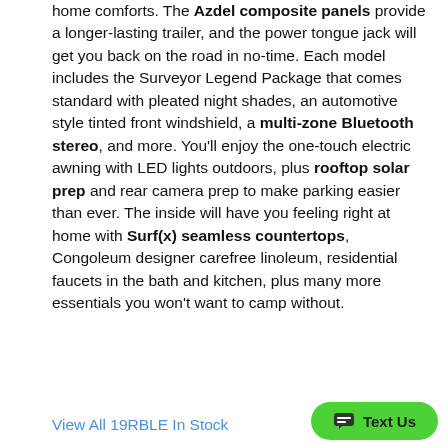home comforts. The Azdel composite panels provide a longer-lasting trailer, and the power tongue jack will get you back on the road in no-time. Each model includes the Surveyor Legend Package that comes standard with pleated night shades, an automotive style tinted front windshield, a multi-zone Bluetooth stereo, and more. You'll enjoy the one-touch electric awning with LED lights outdoors, plus rooftop solar prep and rear camera prep to make parking easier than ever. The inside will have you feeling right at home with Surf(x) seamless countertops, Congoleum designer carefree linoleum, residential faucets in the bath and kitchen, plus many more essentials you won't want to camp without.
View All 19RBLE In Stock